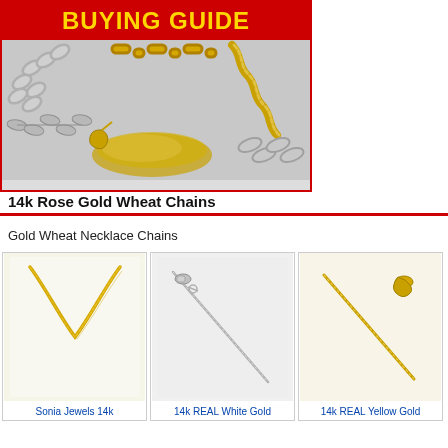[Figure (photo): Chain buying guide banner with red background showing 'BUYING GUIDE' text in yellow/gold and various gold and silver chain necklaces displayed below]
14k Rose Gold Wheat Chains
Gold Wheat Necklace Chains
[Figure (photo): Sonia Jewels 14k yellow gold wheat chain necklace on white background]
Sonia Jewels 14k
[Figure (photo): 14k REAL white gold wheat chain necklace with clasp on white/gray background]
14k REAL White Gold
[Figure (photo): 14k REAL yellow gold wheat chain necklace with clasp on white background]
14k REAL Yellow Gold